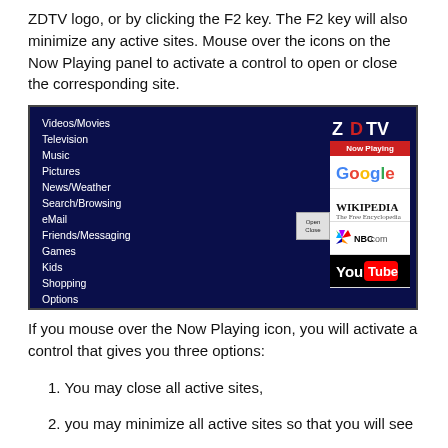ZDTV logo, or by clicking the F2 key. The F2 key will also minimize any active sites. Mouse over the icons on the Now Playing panel to activate a control to open or close the corresponding site.
[Figure (screenshot): Screenshot of ZDTV software interface showing a dark blue navigation panel with menu items: Videos/Movies, Television, Music, Pictures, News/Weather, Search/Browsing, eMail, Friends/Messaging, Games, Kids, Shopping, Options. On the right side is a 'Now Playing' panel (red header) showing logos for Google, Wikipedia, NBC.com, and YouTube. An Open/Close button is visible next to the Wikipedia entry.]
If you mouse over the Now Playing icon, you will activate a control that gives you three options:
You may close all active sites,
you may minimize all active sites so that you will see